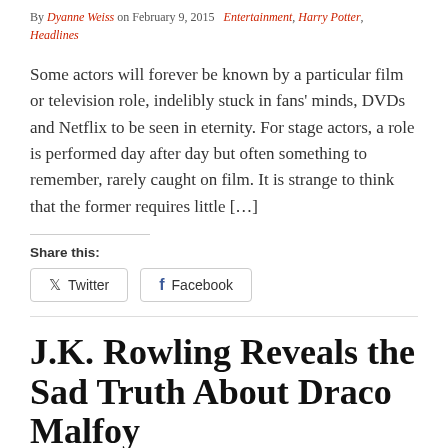By Dyanne Weiss on February 9, 2015  Entertainment, Harry Potter, Headlines
Some actors will forever be known by a particular film or television role, indelibly stuck in fans' minds, DVDs and Netflix to be seen in eternity. For stage actors, a role is performed day after day but often something to remember, rarely caught on film. It is strange to think that the former requires little […]
Share this:
Twitter
Facebook
J.K. Rowling Reveals the Sad Truth About Draco Malfoy
By Alexandria Ingham on December 23, 2014  Entertainment, Harry